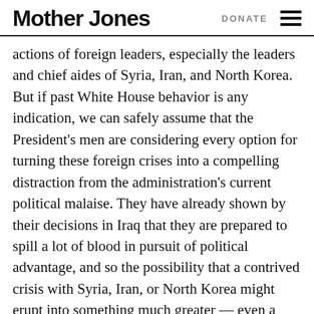Mother Jones | DONATE
actions of foreign leaders, especially the leaders and chief aides of Syria, Iran, and North Korea. But if past White House behavior is any indication, we can safely assume that the President’s men are considering every option for turning these foreign crises into a compelling distraction from the administration’s current political malaise. They have already shown by their decisions in Iraq that they are prepared to spill a lot of blood in pursuit of political advantage, and so the possibility that a contrived crisis with Syria, Iran, or North Korea might erupt into something much greater — even a full-scale war or economic meltdown — may be unlikely to deter them from a wag-the-dog